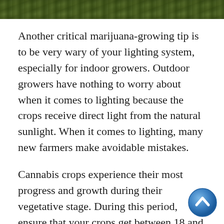[Figure (photo): Top portion of a photo showing marijuana/cannabis plants with green foliage, cropped at the top of the page.]
Another critical marijuana-growing tip is to be very wary of your lighting system, especially for indoor growers. Outdoor growers have nothing to worry about when it comes to lighting because the crops receive direct light from the natural sunlight. When it comes to lighting, many new farmers make avoidable mistakes.
Cannabis crops experience their most progress and growth during their vegetative stage. During this period, ensure that your crops get between 18 and 22 hours of lighting every day. Once the plants get to the flowering stage, you should decrease the number of lighting hours to 12 hours a day.